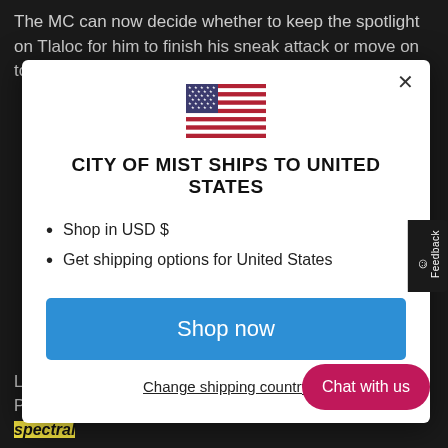The MC can now decide whether to keep the spotlight on Tlaloc for him to finish his sneak attack or move on to someone
[Figure (screenshot): Modal dialog showing US flag, title 'CITY OF MIST SHIPS TO UNITED STATES', bullet points for shop options, a blue 'Shop now' button, and a 'Change shipping country' link]
Lily rolls an 8 with a Power of 1, bringing h... Power she gains 1 Juice and spends it to create a spectral...